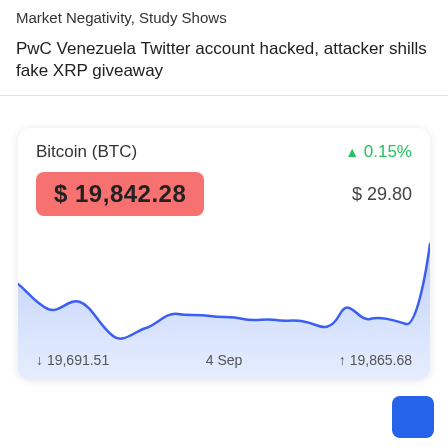Market Negativity, Study Shows
PwC Venezuela Twitter account hacked, attacker shills fake XRP giveaway
[Figure (area-chart): Bitcoin (BTC)]